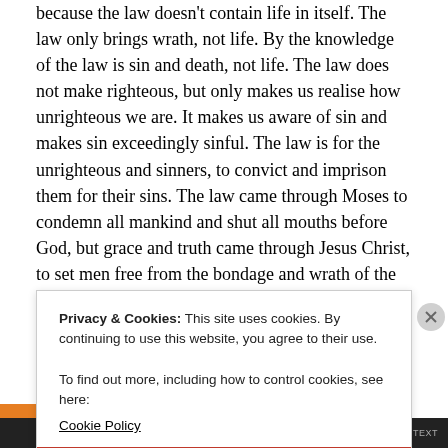because the law doesn't contain life in itself. The law only brings wrath, not life. By the knowledge of the law is sin and death, not life. The law does not make righteous, but only makes us realise how unrighteous we are. It makes us aware of sin and makes sin exceedingly sinful. The law is for the unrighteous and sinners, to convict and imprison them for their sins. The law came through Moses to condemn all mankind and shut all mouths before God, but grace and truth came through Jesus Christ, to set men free from the bondage and wrath of the law. Death came through the law, for the law
Privacy & Cookies: This site uses cookies. By continuing to use this website, you agree to their use.
To find out more, including how to control cookies, see here:
Cookie Policy
Close and accept